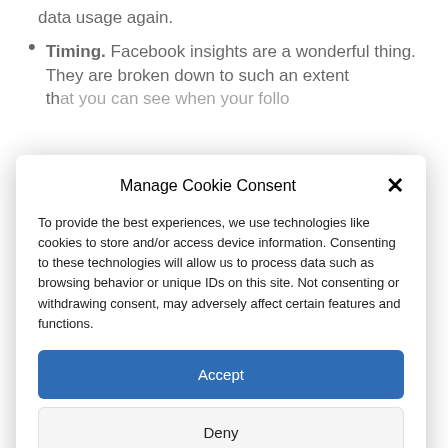data usage again.
Timing. Facebook insights are a wonderful thing. They are broken down to such an extent that...
Manage Cookie Consent
To provide the best experiences, we use technologies like cookies to store and/or access device information. Consenting to these technologies will allow us to process data such as browsing behavior or unique IDs on this site. Not consenting or withdrawing consent, may adversely affect certain features and functions.
Accept
Deny
View preferences
Cookie Policy   Privacy Policy